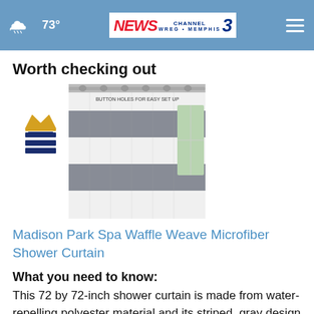73° NEWS CHANNEL 3 WREG MEMPHIS
Worth checking out
[Figure (photo): Product photo of a gray and white striped shower curtain hanging on a rod with button holes for easy setup]
Madison Park Spa Waffle Weave Microfiber Shower Curtain
What you need to know:
This 72 by 72-inch shower curtain is made from water-repelling polyester material and its striped, gray design